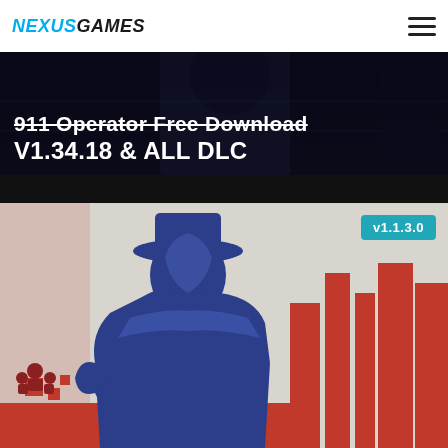NEXUSGAMES
911 Operator Free Download V1.34.18 & ALL DLC
[Figure (screenshot): Dark themed game website banner with partially visible text: '911 Operator Free Download V1.34.18 & ALL DLC' over a dark cyberpunk-style background]
[Figure (illustration): Game cover art for 911 Operator showing a blue silhouette of a person in a detective hat against a red and white city background with version badge v1.1.3.0 in top right corner]